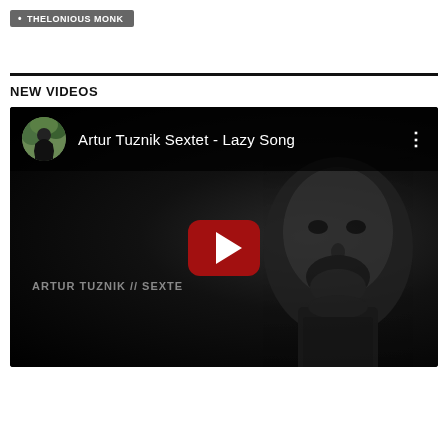• THELONIOUS MONK
NEW VIDEOS
[Figure (screenshot): YouTube video embed showing 'Artur Tuznik Sextet - Lazy Song' with a dark/black-and-white thumbnail of a bearded man's face, a circular avatar of the artist in a green outdoor setting, and a YouTube play button (red rounded rectangle with white triangle) in the center. Watermark text 'ARTUR TUZNIK // SEXTE' visible in bottom-left of video. Three-dot menu icon in upper right.]